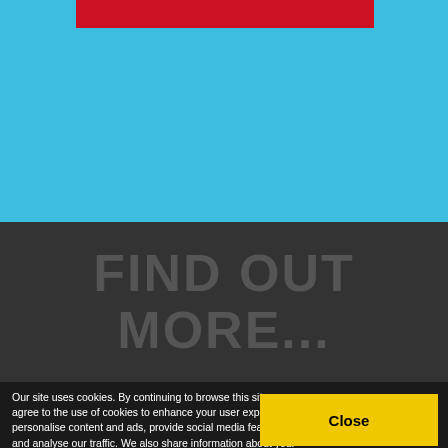[Figure (other): Blue background section with a red horizontal bar near the top]
FIND OUT MORE...
Our site uses cookies. By continuing to browse this site, you agree to the use of cookies to enhance your user experience, personalise content and ads, provide social media features and analyse our traffic. We also share information about your use of our site with our social media, advertising and analytics partners, who can combine this with other information you have provided or has been collected